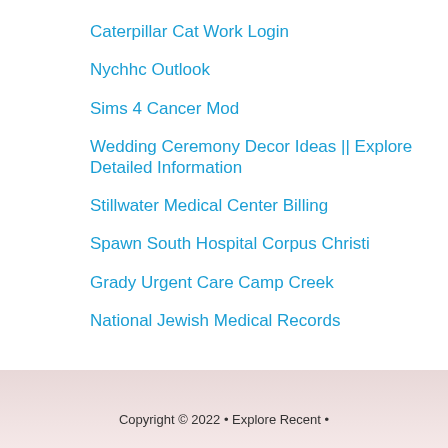Caterpillar Cat Work Login
Nychhc Outlook
Sims 4 Cancer Mod
Wedding Ceremony Decor Ideas || Explore Detailed Information
Stillwater Medical Center Billing
Spawn South Hospital Corpus Christi
Grady Urgent Care Camp Creek
National Jewish Medical Records
Copyright © 2022 • Explore Recent •